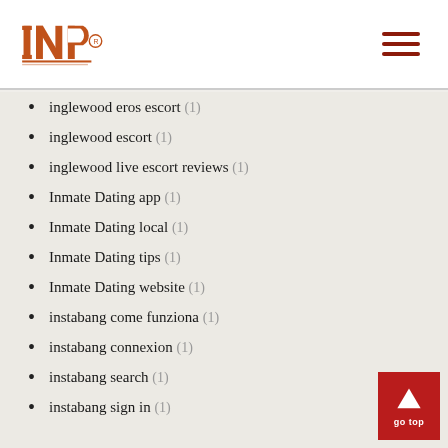INP logo and navigation menu
inglewood eros escort (1)
inglewood escort (1)
inglewood live escort reviews (1)
Inmate Dating app (1)
Inmate Dating local (1)
Inmate Dating tips (1)
Inmate Dating website (1)
instabang come funziona (1)
instabang connexion (1)
instabang search (1)
instabang sign in (1)